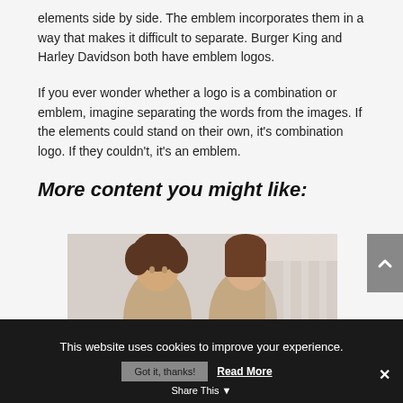elements side by side. The emblem incorporates them in a way that makes it difficult to separate. Burger King and Harley Davidson both have emblem logos.
If you ever wonder whether a logo is a combination or emblem, imagine separating the words from the images. If the elements could stand on their own, it’s combination logo. If they couldn’t, it’s an emblem.
More content you might like:
[Figure (photo): Two women in conversation, one with curly hair, one with straight brown hair, in a bright room]
This website uses cookies to improve your experience.
Got it, thanks!  Read More  Share This  ×